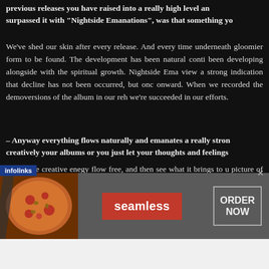previous releases you have raised into a really high level and surpassed it with "Nightside Emanations", was that something yo
We've shed our skin after every release. And every time underneath gloomier form to be found. The development has been natural conti been developing alongside with the spiritual growth. Nightside Ema view a strong indication that decline has not been occurred, but onc onward. When we recorded the demoversions of the album in our reh we're succeeded in our efforts.
– Anyway everything flows naturally and emanates a really stron creatively your albums or you just let your thoughts and feelings
We let the creative enegy flow free, and then see what it brings to u picture of what we will start to do.
The things we experienced in personal levels in recent years, perha hat especially dark atmosphere on the album. Of course
[Figure (other): Seamless food delivery advertisement banner with pizza image on left, red Seamless button in center, and ORDER NOW button on right. infolinks label visible at bottom left.]